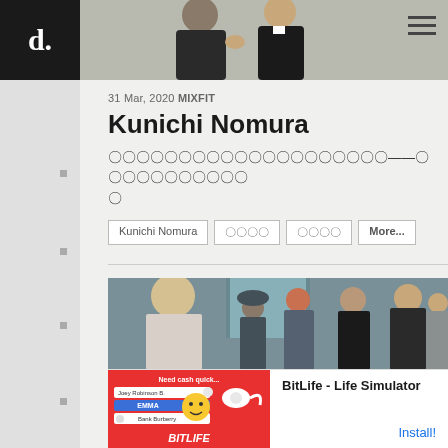[Figure (screenshot): Website screenshot showing d. logo in top left black square, photo of people in dark suits across top, hamburger menu icon top right]
31 Mar, 2020 MIXFIT
Kunichi Nomura
Japanese text content about Kunichi Nomura
Kunichi Nomura
More...
[Figure (screenshot): Film scene showing blond woman and group of people in what appears to be a courtroom or institutional setting]
[Figure (screenshot): BitLife - Life Simulator advertisement banner at bottom]